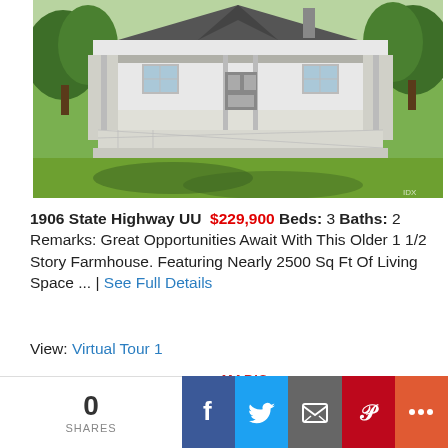[Figure (photo): Exterior photo of a white farmhouse with a covered wrap-around porch, green lawn in foreground, trees in background]
1906 State Highway UU $229,900 Beds: 3 Baths: 2 Remarks: Great Opportunities Await With This Older 1 1/2 Story Farmhouse. Featuring Nearly 2500 Sq Ft Of Living Space ... | See Full Details
View: Virtual Tour 1
Request: Virtual Showing MARIS MLS
0 SHARES